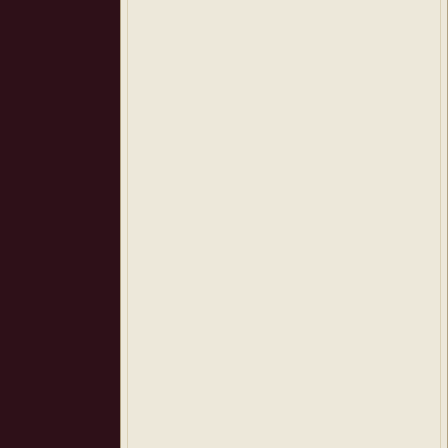She nodded. She remembered. Ed had a person, it was Isuelt. "And now?"

Katt exhaled slowly. "He did something too. That was when she had kidnapped "Physically I seemed fine and it even ba

"But he's back now and figuring out furth that was Renna? If what Katt said was a

"I am not sure how to explain it, Issy. I t meant she didn't even tell Clayton let re but...somehow I ...we..triggered. Me and

"Triggered?" That was never a good wo

She was trying to figure out how to expl my eyes."

Isuelt blinked and swallowed. Ed said th would find a way to elude his fate. Still,

"I freaked." she admitted without any re we spoke about to each other be words being my last words to him. It tore me u

Isuelt smiled softly as she listened to Ka

Katt took a moment, waiting for the feeli took that energy from him, at least a big

"Destiny..." Isuelt whispered the word in